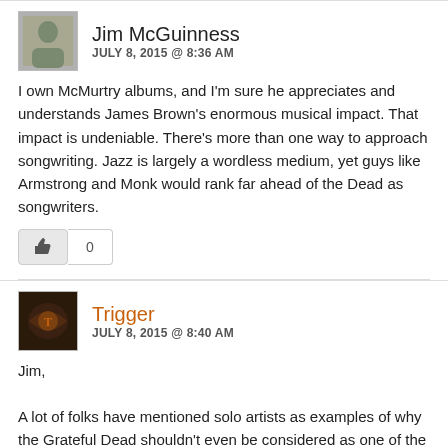Jim McGuinness
JULY 8, 2015 @ 8:36 AM
I own McMurtry albums, and I'm sure he appreciates and understands James Brown's enormous musical impact. That impact is undeniable. There's more than one way to approach songwriting. Jazz is largely a wordless medium, yet guys like Armstrong and Monk would rank far ahead of the Dead as songwriters.
Trigger
JULY 8, 2015 @ 8:40 AM
Jim,

A lot of folks have mentioned solo artists as examples of why the Grateful Dead shouldn't even be considered as one of the best, but solo artists weren't the premise that was submitted for discussion. I don't want to discourage people talking about solo artists...